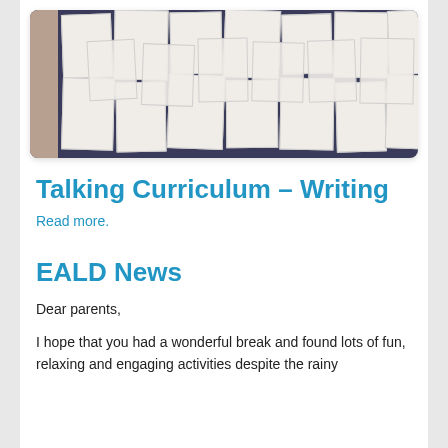[Figure (photo): Photo of many handwritten pages of student writing pinned to a dark blue/navy display board, with brick wall visible on the left side]
Talking Curriculum - Writing
Read more.
EALD News
Dear parents,
I hope that you had a wonderful break and found lots of fun, relaxing and engaging activities despite the rainy